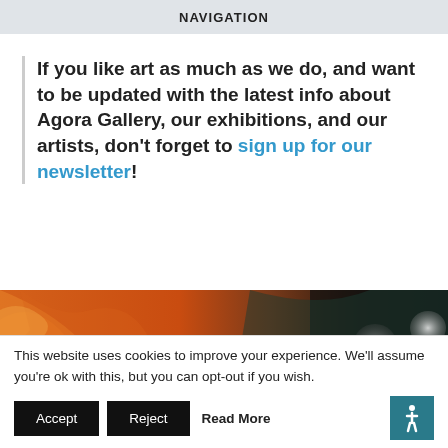NAVIGATION
If you like art as much as we do, and want to be updated with the latest info about Agora Gallery, our exhibitions, and our artists, don’t forget to sign up for our newsletter!
[Figure (photo): Abstract painting showing warm orange and red brush strokes on the left transitioning to dark black areas on the right, with circular forms and striped orbs scattered across the composition.]
This website uses cookies to improve your experience. We'll assume you're ok with this, but you can opt-out if you wish.
Accept | Reject | Read More